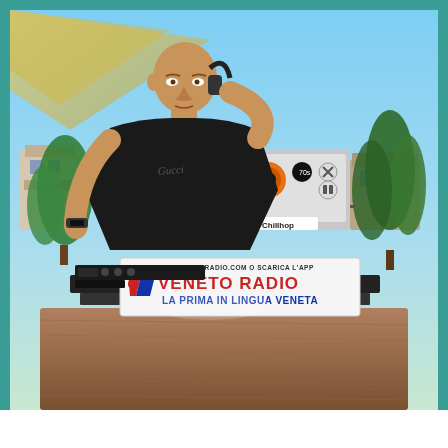[Figure (photo): Outdoor DJ set event. A bald man in a black t-shirt with script lettering stands behind DJ equipment and a laptop (with Chillhop sticker) on a stand. A sign in the foreground reads 'VENETORADIO.COM O SCARICA L'APP / VENETO RADIO / LA PRIMA IN LINGUA VENETA' with the Veneto Radio logo (red and blue V with lion). Background shows trees, houses, and a teal sky. The image has a teal/cyan border around it with a white bar at the bottom.]